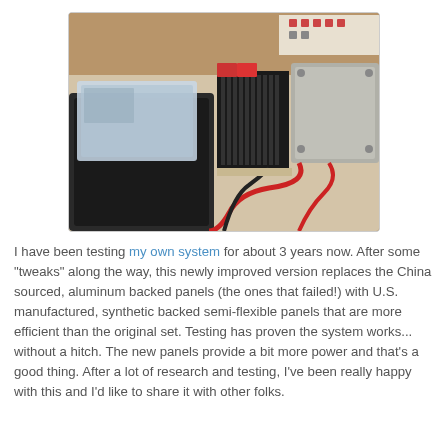[Figure (photo): Photo of an electrical system setup showing a black bag, a plastic container, a heat sink/charge controller, and a grey box with red wires, arranged on a shelf or under a desk]
I have been testing my own system for about 3 years now. After some "tweaks" along the way, this newly improved version replaces the China sourced, aluminum backed panels (the ones that failed!) with U.S. manufactured, synthetic backed semi-flexible panels that are more efficient than the original set. Testing has proven the system works... without a hitch. The new panels provide a bit more power and that's a good thing. After a lot of research and testing, I've been really happy with this and I'd like to share it with other folks.